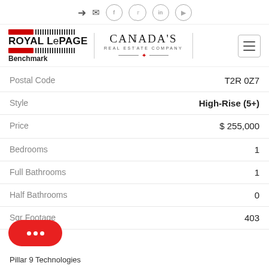[Figure (logo): Royal LePage Benchmark logo and Canada's Real Estate Company logo with hamburger menu button]
| Field | Value |
| --- | --- |
| Postal Code | T2R 0Z7 |
| Style | High-Rise (5+) |
| Price | $ 255,000 |
| Bedrooms | 1 |
| Full Bathrooms | 1 |
| Half Bathrooms | 0 |
| Sqr Footage | 403 |
Pillar 9 Technologies